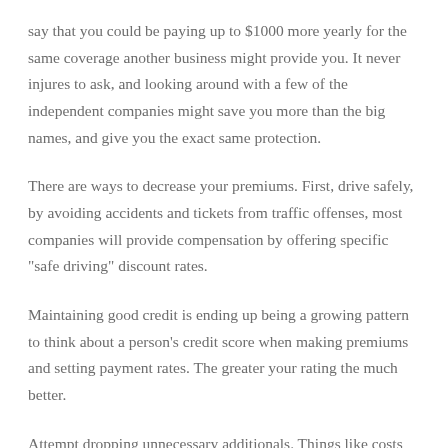say that you could be paying up to $1000 more yearly for the same coverage another business might provide you. It never injures to ask, and looking around with a few of the independent companies might save you more than the big names, and give you the exact same protection.
There are ways to decrease your premiums. First, drive safely, by avoiding accidents and tickets from traffic offenses, most companies will provide compensation by offering specific "safe driving" discount rates.
Maintaining good credit is ending up being a growing pattern to think about a person's credit score when making premiums and setting payment rates. The greater your rating the much better.
Attempt dropping unnecessary additionals. Things like costs for hauling or replacement rental car expenses throughout repair may